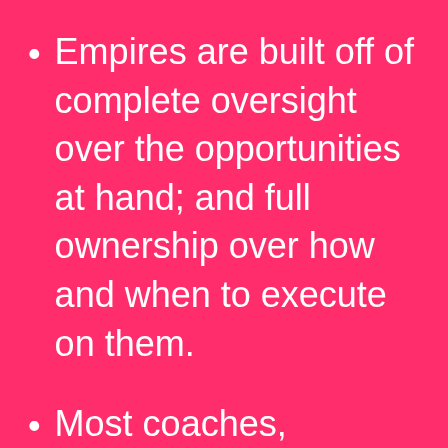Empires are built off of complete oversight over the opportunities at hand; and full ownership over how and when to execute on them.
Most coaches, consulttants, and course creators function off of “one off” conquests; no predictable lead flow; no awareness over who’s in their sphere of influence; no